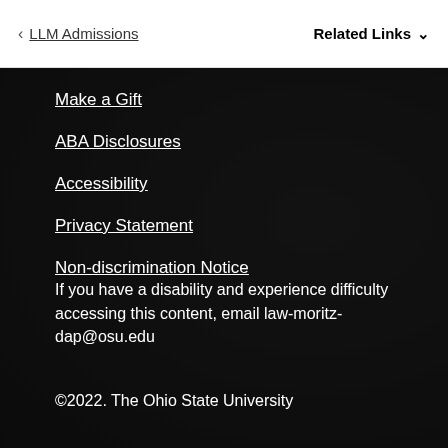< LLM Admissions   Related Links ∨
Make a Gift
ABA Disclosures
Accessibility
Privacy Statement
Non-discrimination Notice
If you have a disability and experience difficulty accessing this content, email law-moritz-dap@osu.edu
©2022. The Ohio State University